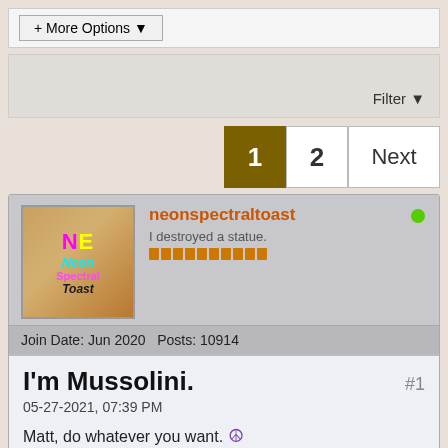+ More Options ▾
Filter ▾
1  2  Next
neonspectraltoast
I destroyed a statue.
Join Date: Jun 2020  Posts: 10914
I'm Mussolini.
#1
05-27-2021, 07:39 PM
Matt, do whatever you want. ☮
Tags: None